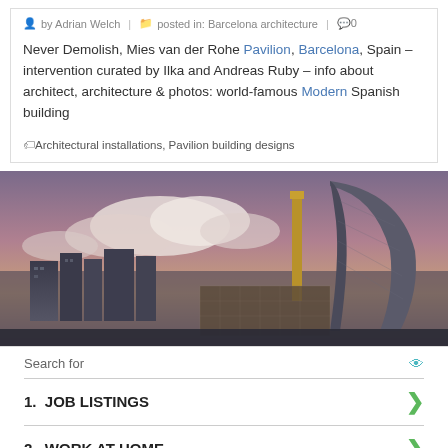by Adrian Welch | posted in: Barcelona architecture | 0
Never Demolish, Mies van der Rohe Pavilion, Barcelona, Spain – intervention curated by Ilka and Andreas Ruby – info about architect, architecture & photos: world-famous Modern Spanish building
Architectural installations, Pavilion building designs
[Figure (photo): Aerial/skyline photograph of Barcelona at dusk showing buildings including a tall curved tower and industrial chimney against a cloudy sky]
Search for
1. JOB LISTINGS
2. WORK AT HOME